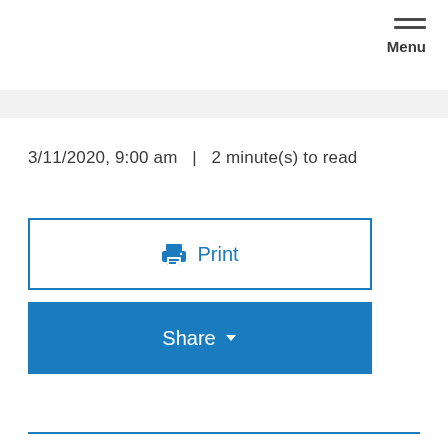Menu
3/11/2020, 9:00 am  |  2 minute(s) to read
[Figure (other): Print button with printer icon, outlined in blue]
[Figure (other): Share button with dropdown arrow, filled blue]